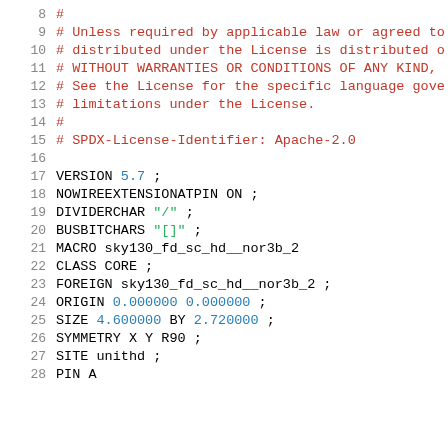Code listing lines 8-28, LEF file for sky130_fd_sc_hd__nor3b_2 macro. Lines 8-15 are Apache-2.0 license comments. Lines 17-28 show VERSION, MACRO definition with CLASS, FOREIGN, ORIGIN, SIZE, SYMMETRY, SITE, PIN directives.